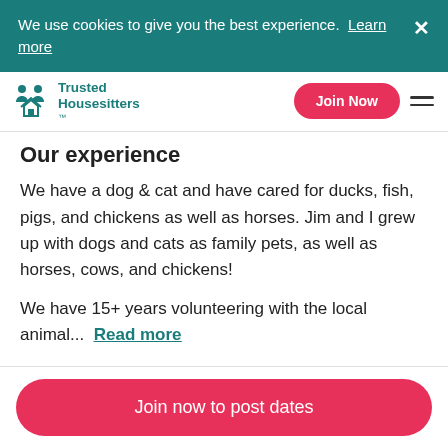We use cookies to give you the best experience. Learn more
Trusted Housesitters™ | Join Now
Our experience
We have a dog & cat and have cared for ducks, fish, pigs, and chickens as well as horses. Jim and I grew up with dogs and cats as family pets, as well as horses, cows, and chickens!
We have 15+ years volunteering with the local animal... Read more
Join now to post dates